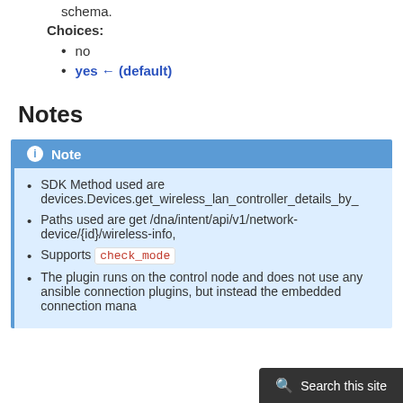validation of request bodies against a JSON schema.
Choices:
no
yes ← (default)
Notes
Note
SDK Method used are devices.Devices.get_wireless_lan_controller_details_by_
Paths used are get /dna/intent/api/v1/network-device/{id}/wireless-info,
Supports check_mode
The plugin runs on the control node and does not use any ansible connection plugins, but instead the embedded connection mana...